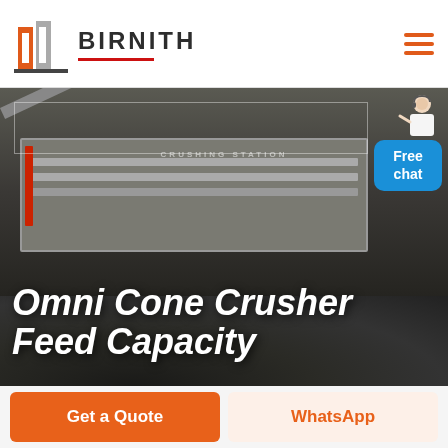[Figure (logo): Birnith company logo: orange-red angular building/construction icon with text BIRNITH in dark gray bold letters, red underline beneath text]
[Figure (photo): Industrial crushing station machinery with conveyor belts, large rock crusher equipment, dark rocks/coal in foreground, workers visible, overcast industrial setting]
Omni Cone Crusher Feed Capacity
[Figure (illustration): Blue rounded rectangle chat button with text 'Free chat' in white, customer service agent figure above it]
Get a Quote
WhatsApp